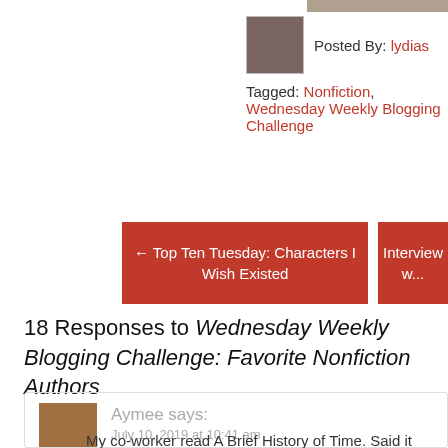[Figure (photo): Partial top edge of a photograph, cropped at top of page]
Posted By: lydias
Tagged: Nonfiction, Wednesday Weekly Blogging Challenge
← Top Ten Tuesday: Characters I Wish Existed
Interview w...
18 Responses to Wednesday Weekly Blogging Challenge: Favorite Nonfiction Authors
Aymee says:
July 10, 2019 at 10:41 am
My co-worker read A Brief History of Time. Said it